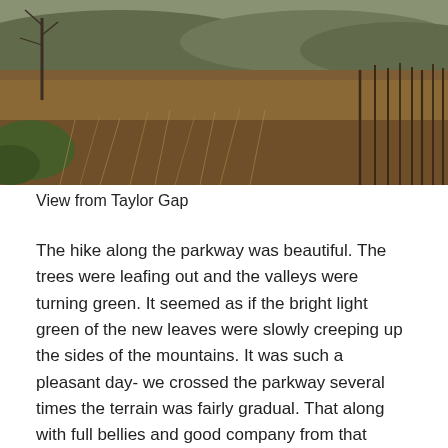[Figure (photo): Landscape photo taken from Taylor Gap showing dry brown grassland and bare trees on rolling hills under a cloudy sky.]
View from Taylor Gap
The hike along the parkway was beautiful. The trees were leafing out and the valleys were turning green. It seemed as if the bright light green of the new leaves were slowly creeping up the sides of the mountains. It was such a pleasant day- we crossed the parkway several times the terrain was fairly gradual. That along with full bellies and good company from that morning had us in such a cheerful mood.